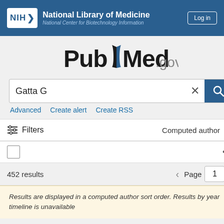NIH National Library of Medicine National Center for Biotechnology Information | Log in
[Figure (logo): PubMed.gov logo with stylized open book icon]
Gatta G
Advanced   Create alert   Create RSS
Filters   Computed author
452 results   Page 1
Results are displayed in a computed author sort order. Results by year timeline is unavailable